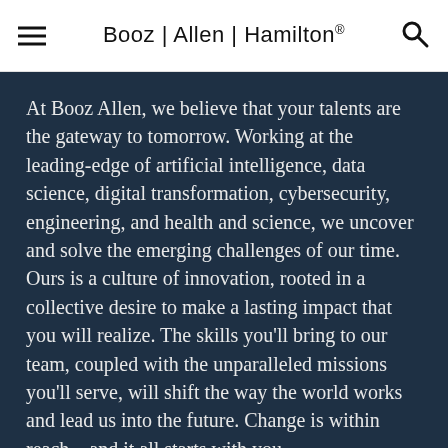Booz | Allen | Hamilton®
At Booz Allen, we believe that your talents are the gateway to tomorrow. Working at the leading-edge of artificial intelligence, data science, digital transformation, cybersecurity, engineering, and health and science, we uncover and solve the emerging challenges of our time. Ours is a culture of innovation, rooted in a collective desire to make a lasting impact that you will realize. The skills you'll bring to our team, coupled with the unparalleled missions you'll serve, will shift the way the world works and lead us into the future. Change is within reach—and it all starts with you.